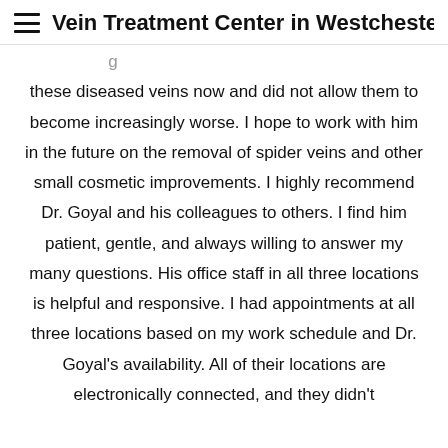Vein Treatment Center in Westchester
these diseased veins now and did not allow them to become increasingly worse. I hope to work with him in the future on the removal of spider veins and other small cosmetic improvements. I highly recommend Dr. Goyal and his colleagues to others. I find him patient, gentle, and always willing to answer my many questions. His office staff in all three locations is helpful and responsive. I had appointments at all three locations based on my work schedule and Dr. Goyal's availability. All of their locations are electronically connected, and they didn't